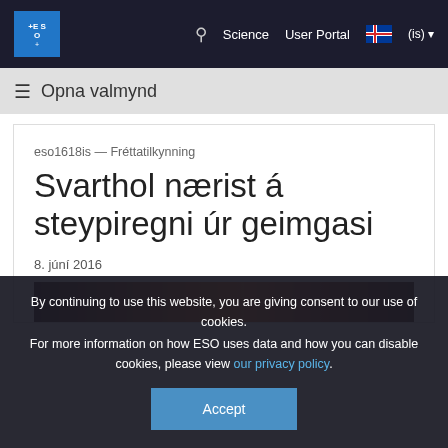ESO — Science  User Portal  (is)
≡ Opna valmynd
eso1618is — Fréttatilkynning
Svarthol nærist á steypiregni úr geimgasi
8. júní 2016
[Figure (photo): Partial view of an astronomical image showing nebula or cosmic gas cloud in warm orange/red tones]
By continuing to use this website, you are giving consent to our use of cookies.
For more information on how ESO uses data and how you can disable cookies, please view our privacy policy.
Accept